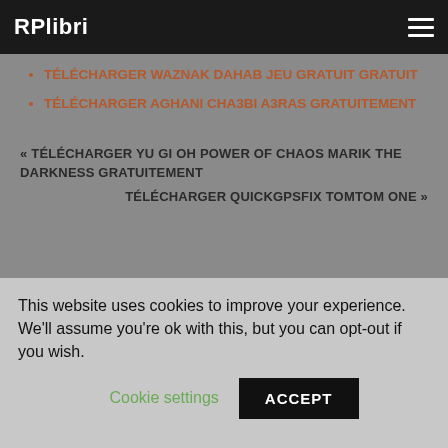RPlibri
TÉLÉCHARGER WAZNAK DAHAB JEU GRATUIT GRATUIT
TÉLÉCHARGER AGHANI CHA3BI A3RAS GRATUITEMENT
« TÉLÉCHARGER YU GI OH POWER OF CHAOS MARIK THE DARKNESS GRATUITEMENT
TÉLÉCHARGER QUICKGPSFIX TOMTOM ONE »
This website uses cookies to improve your experience. We'll assume you're ok with this, but you can opt-out if you wish.
Cookie settings  ACCEPT